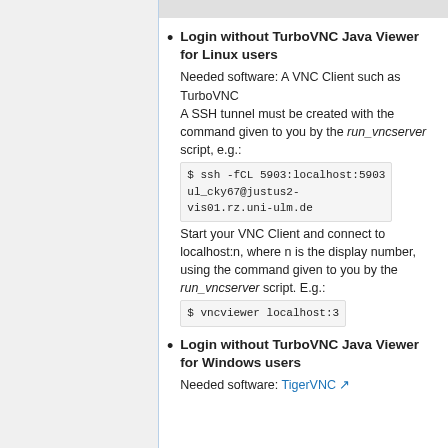Login without TurboVNC Java Viewer for Linux users
Needed software: A VNC Client such as TurboVNC
A SSH tunnel must be created with the command given to you by the run_vncserver script, e.g.: $ ssh -fCL 5903:localhost:5903 ul_cky67@justus2-vis01.rz.uni-ulm.de
Start your VNC Client and connect to localhost:n, where n is the display number, using the command given to you by the run_vncserver script. E.g.: $ vncviewer localhost:3
Login without TurboVNC Java Viewer for Windows users
Needed software: TigerVNC